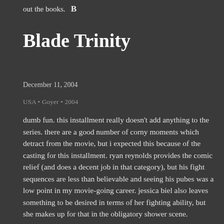out the books.  B
Blade Trinity
December 11, 2004
USA • Goyer • 2004
dumb fun. this installment really doesn't add anything to the series. there are a good number of corny moments which detract from the movie, but i expected this because of the casting for this installment. ryan reynolds provides the comic relief (and does a decent job in that category), but his fight sequences are less than believable and seeing his pubes was a low point in my movie-going career. jessica biel also leaves something to be desired in terms of her fighting ability, but she makes up for that in the obligatory shower scene.